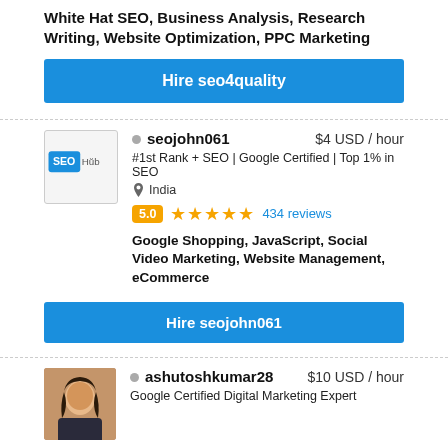White Hat SEO, Business Analysis, Research Writing, Website Optimization, PPC Marketing
Hire seo4quality
seojohn061  $4 USD / hour
#1st Rank + SEO | Google Certified | Top 1% in SEO
India
5.0 ★★★★★ 434 reviews
Google Shopping, JavaScript, Social Video Marketing, Website Management, eCommerce
Hire seojohn061
ashutoshkumar28  $10 USD / hour
Google Certified Digital Marketing Expert